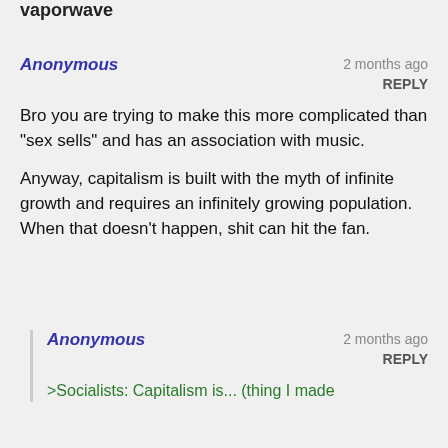vaporwave
Anonymous  2 months ago  REPLY
Bro you are trying to make this more complicated than "sex sells" and has an association with music.

Anyway, capitalism is built with the myth of infinite growth and requires an infinitely growing population. When that doesn't happen, shit can hit the fan.
Anonymous  2 months ago  REPLY
>Socialists: Capitalism is... (thing I made